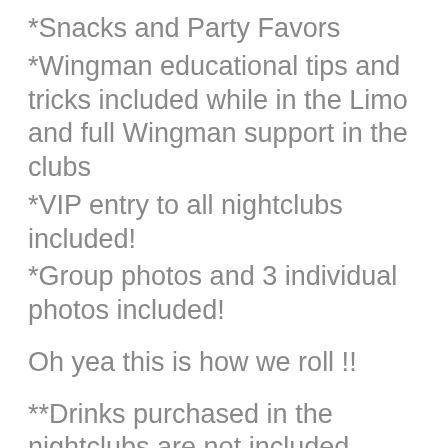*Snacks and Party Favors
*Wingman educational tips and tricks included while in the Limo and full Wingman support in the clubs
*VIP entry to all nightclubs included!
*Group photos and 3 individual photos included!
Oh yea this is how we roll !!
**Drinks purchased in the nightclubs are not included
Party Hardy and get home safe.
Set one convenient central and safe pickup point for your guests to join the